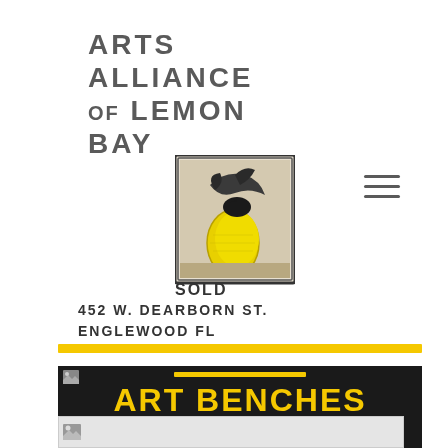ARTS ALLIANCE OF LEMON BAY
[Figure (logo): Arts Alliance of Lemon Bay logo — illustrated lemon with bird in decorative border frame]
SOLD
452 W. DEARBORN ST.
ENGLEWOOD FL
[Figure (other): Yellow horizontal bar divider]
ART BENCHES
[Figure (photo): Partially loaded image at bottom of page]